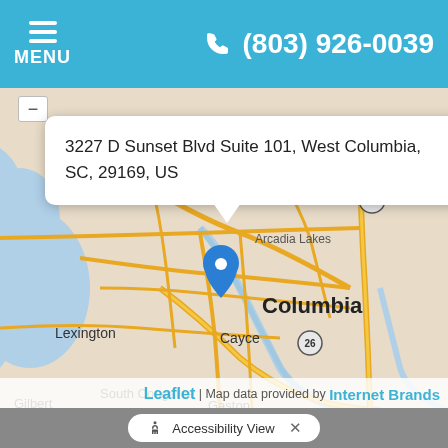☰ MENU  ☎ (803) 926-0039
[Figure (map): Street map centered on West Columbia / Columbia, SC area showing Lexington, Chapin, Arcadia Lakes, Cayce, South Congaree, Gilbert, Gaston, with a blue location pin marker and a popup tooltip reading '3227 D Sunset Blvd Suite 101, West Columbia, SC, 29169, US']
3227 D Sunset Blvd Suite 101, West Columbia, SC, 29169, US
Leaflet | Map data provided by Internet Brands
♿ Accessibility View  ×